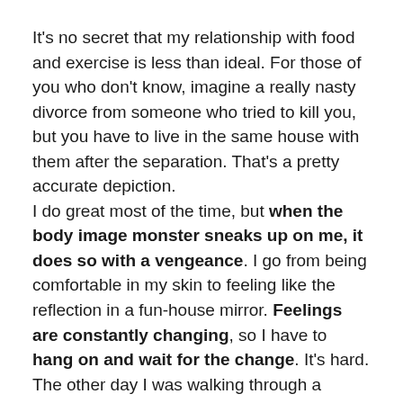It’s no secret that my relationship with food and exercise is less than ideal. For those of you who don’t know, imagine a really nasty divorce from someone who tried to kill you, but you have to live in the same house with them after the separation. That’s a pretty accurate depiction.
I do great most of the time, but when the body image monster sneaks up on me, it does so with a vengeance. I go from being comfortable in my skin to feeling like the reflection in a fun-house mirror. Feelings are constantly changing, so I have to hang on and wait for the change. It’s hard.
The other day I was walking through a department store looking at the clothes. Remembering when I fit in sizes much smaller than the ones I wear now. I felt myself getting negative the further down skinny lane I strolled.